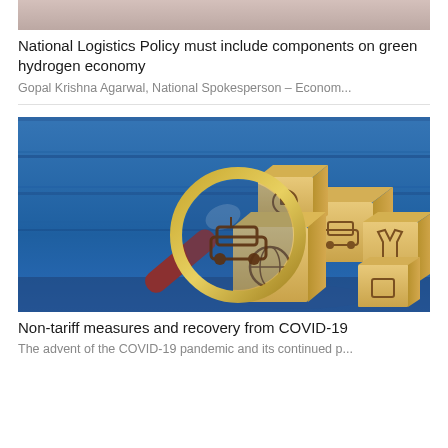[Figure (photo): Partial photo of a person in a light-colored outfit, cropped at the top of the page]
National Logistics Policy must include components on green hydrogen economy
Gopal Krishna Agarwal, National Spokesperson – Econom...
[Figure (photo): Photo of a magnifying glass over cardboard boxes with logistics icons (car, globe, etc.) on a blue background]
Non-tariff measures and recovery from COVID-19
The advent of the COVID-19 pandemic and its continued p...